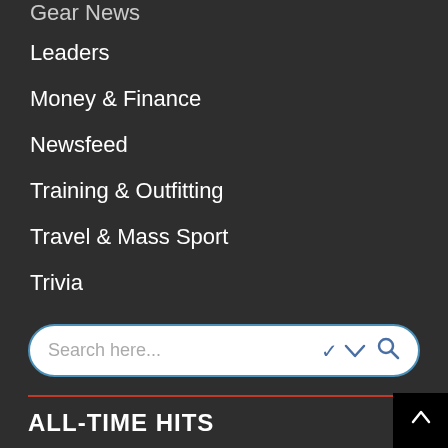Gear News
Leaders
Money & Finance
Newsfeed
Training & Outfitting
Travel & Mass Sport
Trivia
[Figure (screenshot): Search bar with placeholder text 'Search here...' and a chevron down icon and magnifier icon on the right, with blue border on white background]
ALL-TIME HITS
Nude Photoshoots Boost Popularity Of